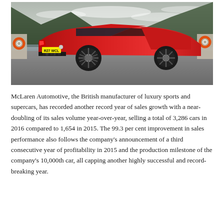[Figure (photo): A red McLaren 570S sports car (licence plate R27 WCL) photographed from the rear three-quarter angle on a wet ferry deck, with mountains and cloudy sky in the background.]
McLaren Automotive, the British manufacturer of luxury sports and supercars, has recorded another record year of sales growth with a near-doubling of its sales volume year-over-year, selling a total of 3,286 cars in 2016 compared to 1,654 in 2015. The 99.3 per cent improvement in sales performance also follows the company's announcement of a third consecutive year of profitability in 2015 and the production milestone of the company's 10,000th car, all capping another highly successful and record-breaking year.